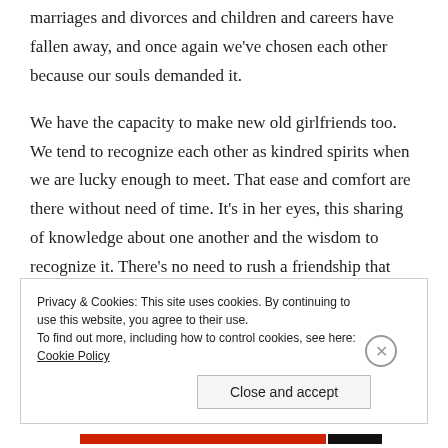marriages and divorces and children and careers have fallen away, and once again we've chosen each other because our souls demanded it.
We have the capacity to make new old girlfriends too. We tend to recognize each other as kindred spirits when we are lucky enough to meet. That ease and comfort are there without need of time. It's in her eyes, this sharing of knowledge about one another and the wisdom to recognize it. There's no need to rush a friendship that may develop, it will seek it's level like water.
Privacy & Cookies: This site uses cookies. By continuing to use this website, you agree to their use. To find out more, including how to control cookies, see here: Cookie Policy